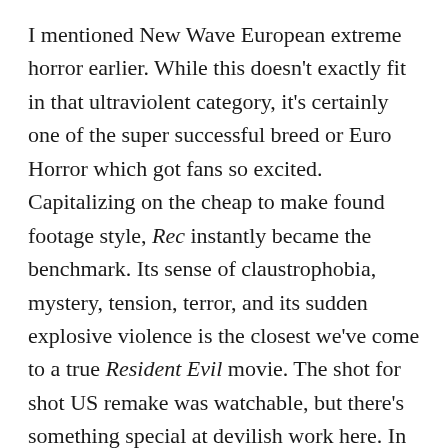I mentioned New Wave European extreme horror earlier. While this doesn't exactly fit in that ultraviolent category, it's certainly one of the super successful breed or Euro Horror which got fans so excited. Capitalizing on the cheap to make found footage style, Rec instantly became the benchmark. Its sense of claustrophobia, mystery, tension, terror, and its sudden explosive violence is the closest we've come to a true Resident Evil movie. The shot for shot US remake was watchable, but there's something special at devilish work here. In your perfect horror movie scenario, the almost perfect Rec follows a journalist and her team making a documentary about a fire crew – following them around on a typical day. The crew is called to an apartment building due to a report about an old woman trapped and screaming in her room. This being a horror movie, the old woman isn't exactly